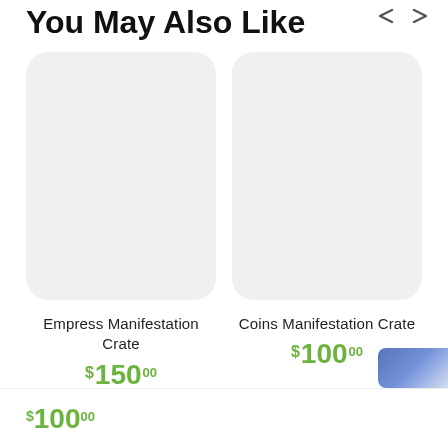You May Also Like
[Figure (photo): Product image placeholder for Empress Manifestation Crate — light gray rounded rectangle]
Empress Manifestation Crate
$150.00
[Figure (photo): Product image placeholder for Coins Manifestation Crate — light gray rounded rectangle]
Coins Manifestation Crate
$100.00
$100.00